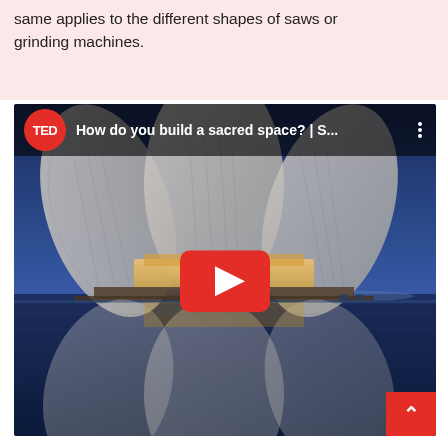same applies to the different shapes of saws or grinding machines.
[Figure (screenshot): Embedded YouTube video thumbnail showing a TED talk titled 'How do you build a sacred space? | S...' The thumbnail shows a lotus-shaped sacred building reflected in water at dusk/night. A red YouTube play button is visible in the center. A TED logo (red circle with white TED text) appears in the top-left of the video bar.]